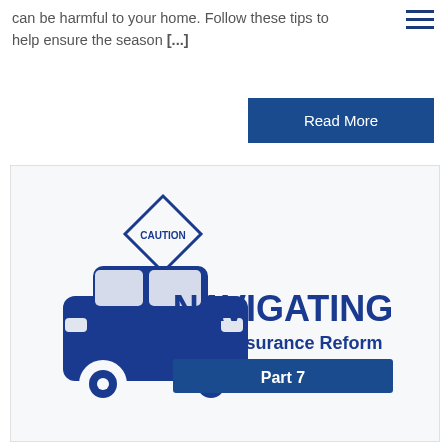can be harmful to your home. Follow these tips to help ensure the season [...]
[Figure (illustration): Blue car icon with a caution road sign, beside bold blue text reading 'NAVIGATING Auto Insurance Reform Part 7']